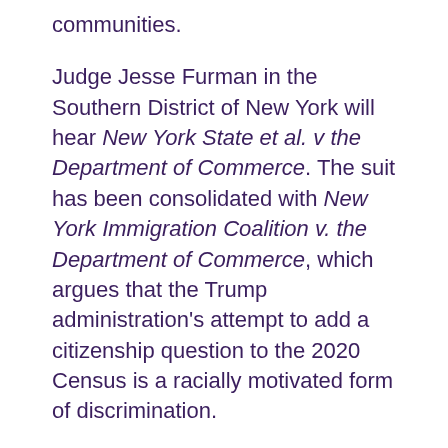communities.
Judge Jesse Furman in the Southern District of New York will hear New York State et al. v the Department of Commerce. The suit has been consolidated with New York Immigration Coalition v. the Department of Commerce, which argues that the Trump administration's attempt to add a citizenship question to the 2020 Census is a racially motivated form of discrimination.
The American Civil Liberties Union and the New York Civil Liberties Union will argue the case alongside the New York State Attorney General's Office. Plaintiffs from the New York